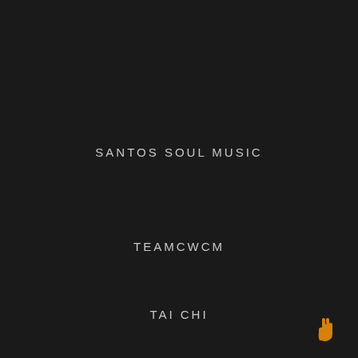SANTOS SOUL MUSIC
TEAMCWCM
TAI CHI
[Figure (logo): Orange peace/victory hand sign logo in bottom right corner]